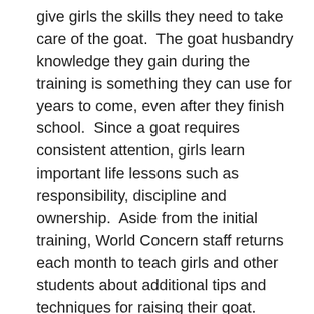give girls the skills they need to take care of the goat.  The goat husbandry knowledge they gain during the training is something they can use for years to come, even after they finish school.  Since a goat requires consistent attention, girls learn important life lessons such as responsibility, discipline and ownership.  Aside from the initial training, World Concern staff returns each month to teach girls and other students about additional tips and techniques for raising their goat.
2.  "Multiplying effect."  When a goat is given, its impact goes beyond the girl who initially received the goat.  The first kid that goat produces is returned to the program so it can be given to another child.  This is one reason that our goat program in Haiti has existed since 1998 and continues to this day.  The gift of a goat has a significant impact in the life of a girl but it also is a